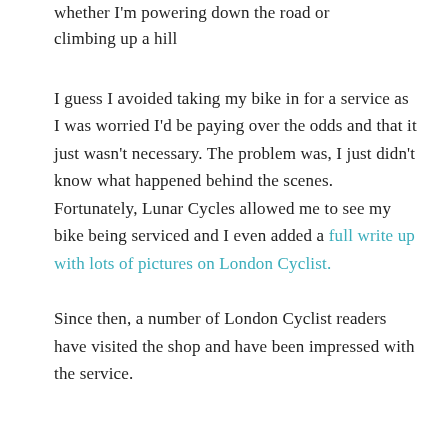whether I'm powering down the road or climbing up a hill
I guess I avoided taking my bike in for a service as I was worried I'd be paying over the odds and that it just wasn't necessary. The problem was, I just didn't know what happened behind the scenes. Fortunately, Lunar Cycles allowed me to see my bike being serviced and I even added a full write up with lots of pictures on London Cyclist.
Since then, a number of London Cyclist readers have visited the shop and have been impressed with the service.